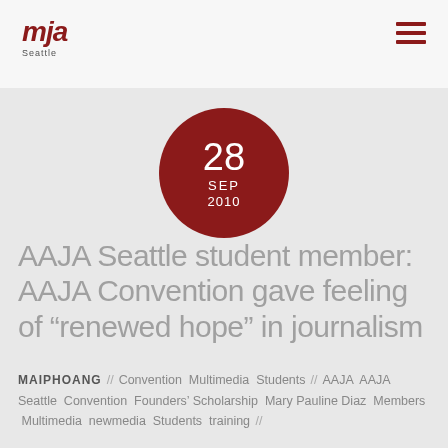[Figure (logo): AAJA Seattle logo with stylized script text and 'Seattle' label beneath]
[Figure (infographic): Dark red circle with date: 28 SEP 2010]
AAJA Seattle student member: AAJA Convention gave feeling of “renewed hope” in journalism
MAIPHOANG // Convention Multimedia Students // AAJA AAJA Seattle Convention Founders’ Scholarship Mary Pauline Diaz Members Multimedia newmedia Students training //